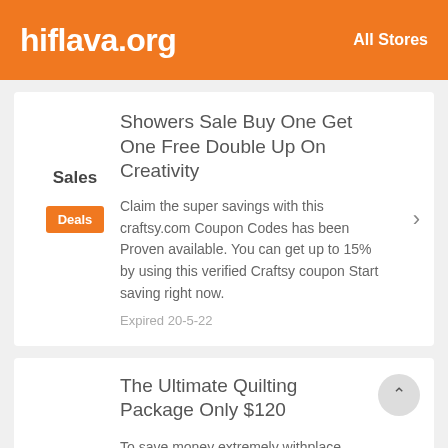hiflava.org — All Stores
Showers Sale Buy One Get One Free Double Up On Creativity
Claim the super savings with this craftsy.com Coupon Codes has been Proven available. You can get up to 15% by using this verified Craftsy coupon Start saving right now.
Expired 20-5-22
The Ultimate Quilting Package Only $120
To save money extremely withplace order with Promo Codes & Coupons